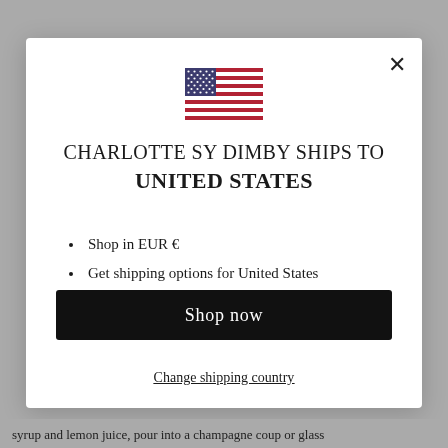[Figure (illustration): US flag SVG illustration inside a modal popup]
CHARLOTTE SY DIMBY SHIPS TO UNITED STATES
Shop in EUR €
Get shipping options for United States
Shop now
Change shipping country
syrup and lemon juice, pour into a champagne coup or glass